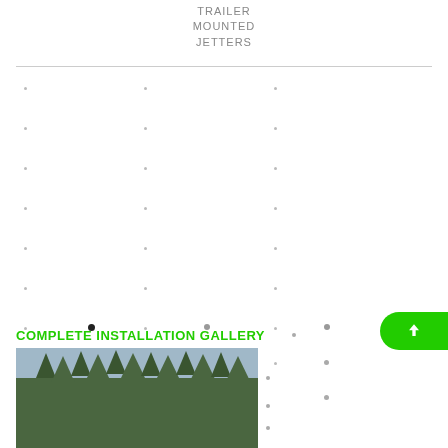TRAILER MOUNTED JETTERS
[Figure (other): Scattered dot pattern grid with small grey and black dots across three columns]
COMPLETE INSTALLATION GALLERY
[Figure (photo): Outdoor photo showing tall evergreen trees against a grey sky]